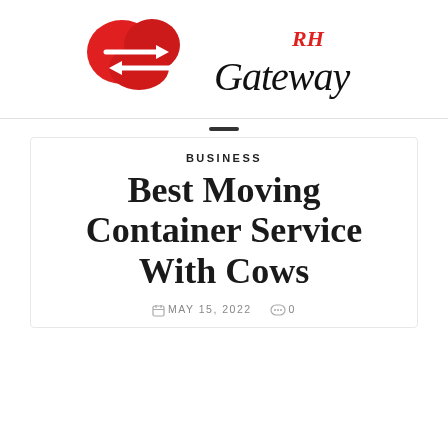[Figure (logo): RH Gateway logo with red cloud/heart icon with white arrows and script text 'Gateway' with red 'RH' above]
Best Moving Container Service With Cows
BUSINESS
MAY 15, 2022  0